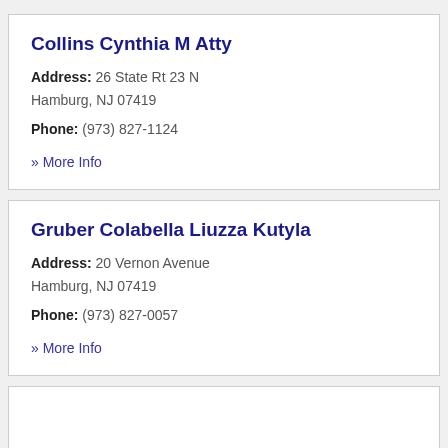Collins Cynthia M Atty
Address: 26 State Rt 23 N Hamburg, NJ 07419
Phone: (973) 827-1124
» More Info
Gruber Colabella Liuzza Kutyla
Address: 20 Vernon Avenue Hamburg, NJ 07419
Phone: (973) 827-0057
» More Info